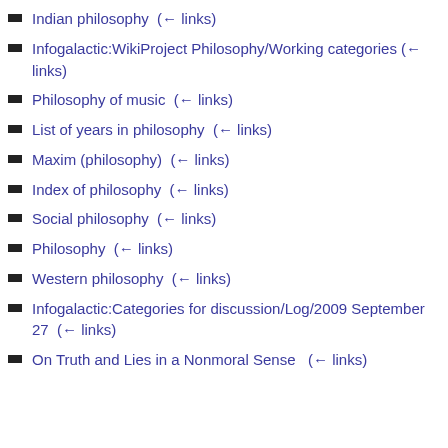Indian philosophy  (← links)
Infogalactic:WikiProject Philosophy/Working categories  (← links)
Philosophy of music  (← links)
List of years in philosophy  (← links)
Maxim (philosophy)  (← links)
Index of philosophy  (← links)
Social philosophy  (← links)
Philosophy  (← links)
Western philosophy  (← links)
Infogalactic:Categories for discussion/Log/2009 September 27  (← links)
On Truth and Lies in a Nonmoral Sense  (← links)